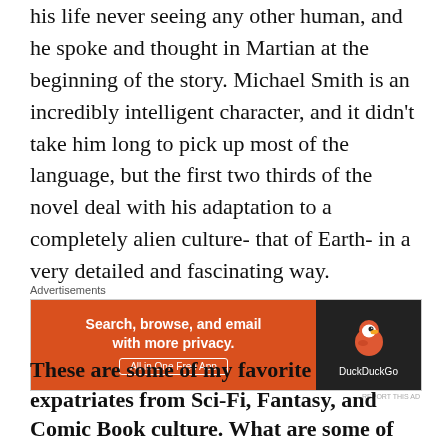his life never seeing any other human, and he spoke and thought in Martian at the beginning of the story. Michael Smith is an incredibly intelligent character, and it didn't take him long to pick up most of the language, but the first two thirds of the novel deal with his adaptation to a completely alien culture- that of Earth- in a very detailed and fascinating way.
[Figure (other): DuckDuckGo advertisement banner with orange left panel reading 'Search, browse, and email with more privacy. All in One Free App' and dark right panel with DuckDuckGo duck logo and brand name.]
These are some of my favorite expatriates from Sci-Fi, Fantasy, and Comic Book culture. What are some of your favorites?